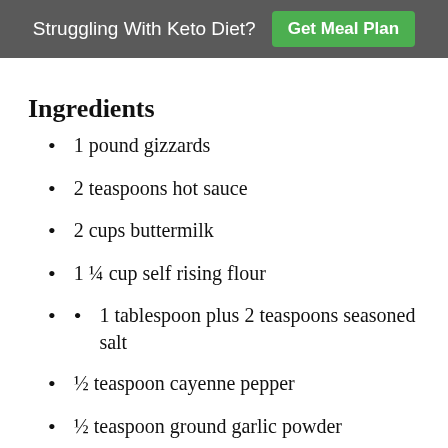Struggling With Keto Diet? Get Meal Plan
Ingredients
1 pound gizzards
2 teaspoons hot sauce
2 cups buttermilk
1 ¼ cup self rising flour
1 tablespoon plus 2 teaspoons seasoned salt
½ teaspoon cayenne pepper
½ teaspoon ground garlic powder
¼ teaspoon paprika